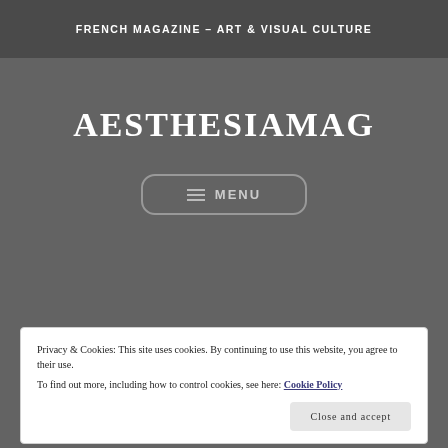FRENCH MAGAZINE – ART & VISUAL CULTURE
AESTHESIAMAG
≡ MENU
Privacy & Cookies: This site uses cookies. By continuing to use this website, you agree to their use.
To find out more, including how to control cookies, see here: Cookie Policy
Close and accept